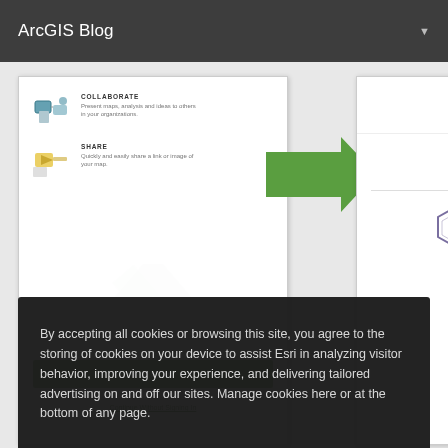ArcGIS Blog
[Figure (screenshot): Two-panel sign-in screen screenshot. Left panel shows COLLABORATE and SHARE options with icons, a SIGN IN green button, and 'Continue Without Signing In' link. A green arrow points right between panels. Right panel shows an 'or' divider, ArcGIS Enterprise hexagon icon with label, and a 'Learn More' link.]
Once logged in you are immediately presented with your organization's menu. The
By accepting all cookies or browsing this site, you agree to the storing of cookies on your device to assist Esri in analyzing visitor behavior, improving your experience, and delivering tailored advertising on and off our sites. Manage cookies here or at the bottom of any page.